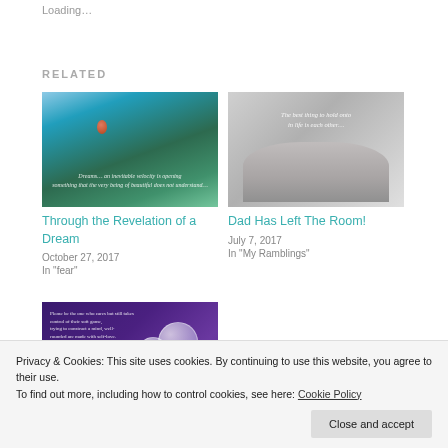Loading...
RELATED
[Figure (photo): Dream/forest scene with hot air balloon and inspirational text overlay]
Through the Revelation of a Dream
October 27, 2017
In "fear"
[Figure (photo): Black and white photo of hands holding, with cursive text overlay]
Dad Has Left The Room!
July 7, 2017
In "My Ramblings"
[Figure (photo): Purple background with glass bubbles and text overlay]
In "anger"
Privacy & Cookies: This site uses cookies. By continuing to use this website, you agree to their use.
To find out more, including how to control cookies, see here: Cookie Policy
Close and accept